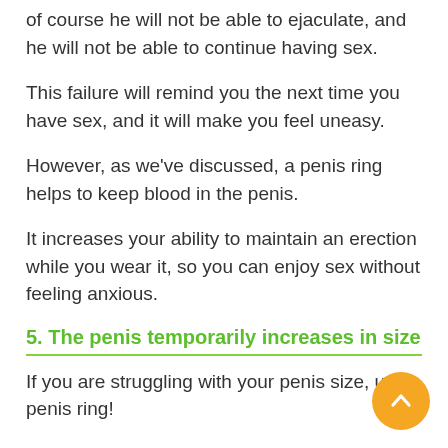of course he will not be able to ejaculate, and he will not be able to continue having sex.
This failure will remind you the next time you have sex, and it will make you feel uneasy.
However, as we've discussed, a penis ring helps to keep blood in the penis.
It increases your ability to maintain an erection while you wear it, so you can enjoy sex without feeling anxious.
5. The penis temporarily increases in size
If you are struggling with your penis size, use a penis ring!